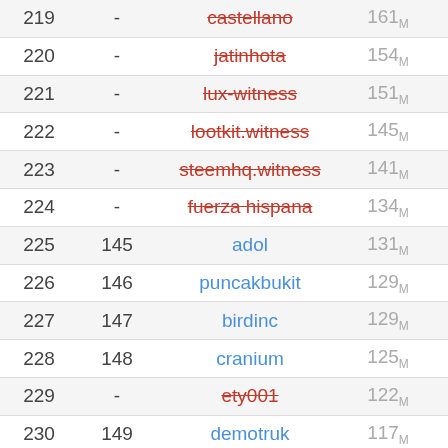| # | # | Name | SP | % |
| --- | --- | --- | --- | --- |
| 219 | - | castellano | 161M | 0.05% |
| 220 | - | jatinhota | 154M | 0.05% |
| 221 | - | lux-witness | 151M | 0.05% |
| 222 | - | lootkit.witness | 145M | 0.05% |
| 223 | - | steemhq.witness | 141M | 0.05% |
| 224 | - | fuerza hispana | 134M | 0.05% |
| 225 | 145 | adol | 131M | 0.04% |
| 226 | 146 | puncakbukit | 129M | 0.04% |
| 227 | 147 | birdinc | 129M | 0.04% |
| 228 | 148 | cranium | 125M | 0.04% |
| 229 | - | ety001 | 122M | 0.04% |
| 230 | 149 | demotruk | 117M | 0.04% |
| 231 | 150 | pjau | 115M | 0.04% |
| 232 | 151 | we-the-people | 112M | 0.04% |
| 233 | 152 | goodguy24 | 110M | 0.04% |
| 234 | - | moisesmcardona | 107M | 0.04% |